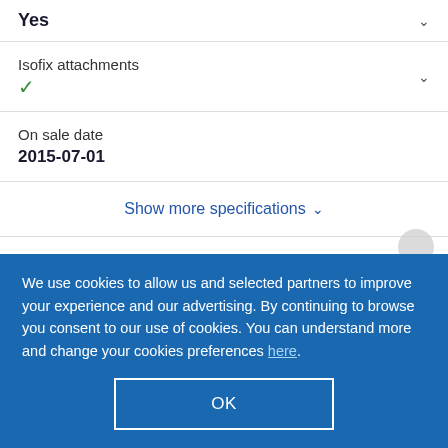Yes
Isofix attachments ✓
On sale date
2015-07-01
Show more specifications
We use cookies to allow us and selected partners to improve your experience and our advertising. By continuing to browse you consent to our use of cookies. You can understand more and change your cookies preferences here.
OK